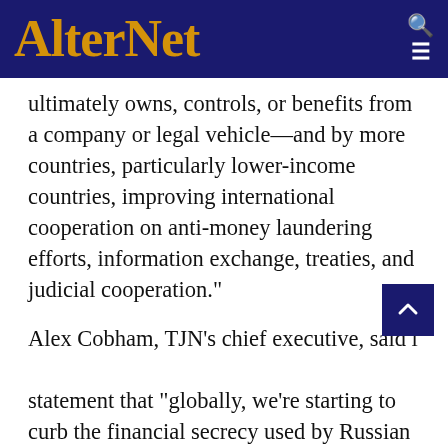AlterNet
ultimately owns, controls, or benefits from a company or legal vehicle—and by more countries, particularly lower-income countries, improving international cooperation on anti-money laundering efforts, information exchange, treaties, and judicial cooperation."
Alex Cobham, TJN's chief executive, said in a statement that "globally, we're starting to curb the financial secrecy used by Russian oligarchs, and also by tax evaders, corrupt politicians, and organized crime around the